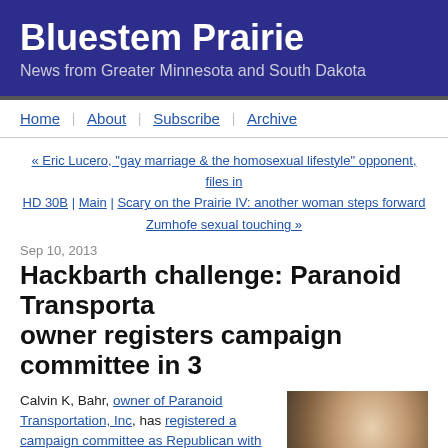Bluestem Prairie
News from Greater Minnesota and South Dakota
Home | About | Subscribe | Archive
« Eric Lucero, "gay marriage & the homosexual lifestyle" opponent, files in HD 30B | Main | Scary on the Prairie IV: another woman steps forward on Zumhofe sexual touching »
Sep 10, 2013
Hackbarth challenge: Paranoid Transportation owner registers campaign committee in 3…
Calvin K, Bahr, owner of Paranoid Transportation, Inc, has registered a campaign committee as Republican with the Minnesota Campaign Finance and Public Disclosure Board for state House District 31B, currently held by Tom Hackbarth (R-Cedar).
[Figure (photo): Photo of a man, close-up portrait]
The jokes practically write